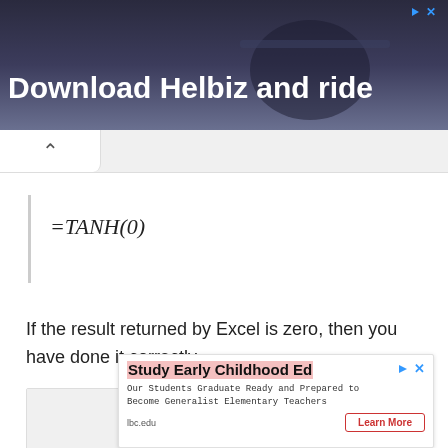[Figure (photo): Advertisement banner with dark background showing text 'Download Helbiz and ride' with a person on a scooter]
If the result returned by Excel is zero, then you have done it correctly.
[Figure (other): Advertisement for 'Study Early Childhood Ed' from lbc.edu with a Learn More button]
[Figure (photo): Partial image visible behind the Study Early Childhood Ed advertisement]